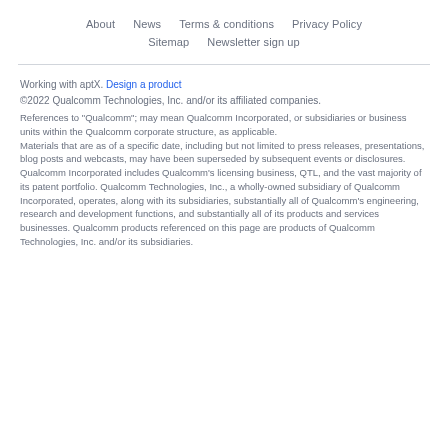About  News  Terms & conditions  Privacy Policy  Sitemap  Newsletter sign up
Working with aptX. Design a product
©2022 Qualcomm Technologies, Inc. and/or its affiliated companies.
References to "Qualcomm"; may mean Qualcomm Incorporated, or subsidiaries or business units within the Qualcomm corporate structure, as applicable.
Materials that are as of a specific date, including but not limited to press releases, presentations, blog posts and webcasts, may have been superseded by subsequent events or disclosures.
Qualcomm Incorporated includes Qualcomm's licensing business, QTL, and the vast majority of its patent portfolio. Qualcomm Technologies, Inc., a wholly-owned subsidiary of Qualcomm Incorporated, operates, along with its subsidiaries, substantially all of Qualcomm's engineering, research and development functions, and substantially all of its products and services businesses. Qualcomm products referenced on this page are products of Qualcomm Technologies, Inc. and/or its subsidiaries.